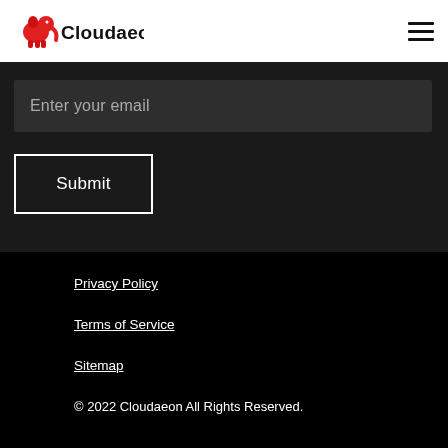Cloudaeon
Enter your email
Submit
Privacy Policy
Terms of Service
Sitemap
© 2022 Cloudaeon All Rights Reserved.